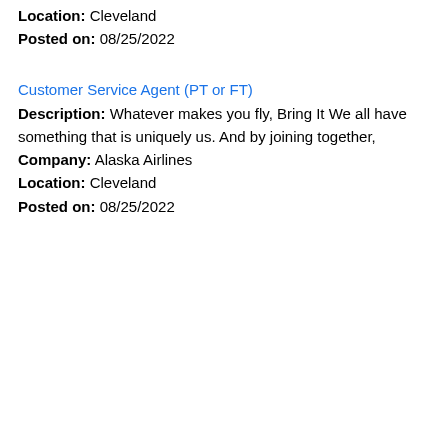Location: Cleveland
Posted on: 08/25/2022
Customer Service Agent (PT or FT)
Description: Whatever makes you fly, Bring It We all have something that is uniquely us. And by joining together,
Company: Alaska Airlines
Location: Cleveland
Posted on: 08/25/2022